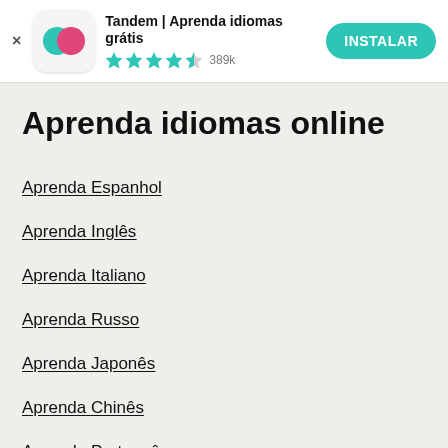[Figure (screenshot): App install banner for Tandem language learning app with icon, rating, and install button]
Aprenda idiomas online
Aprenda Espanhol
Aprenda Inglês
Aprenda Italiano
Aprenda Russo
Aprenda Japonês
Aprenda Chinês
Aprenda Português